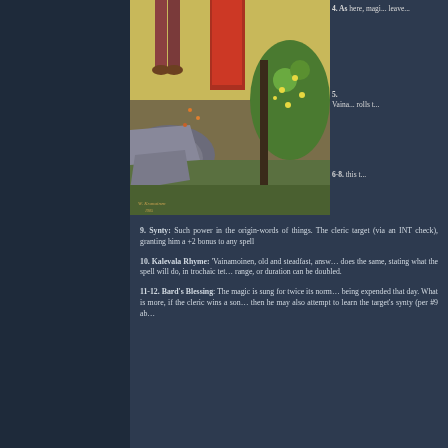[Figure (illustration): Painting of Nordic/Finnish figures in traditional dress standing outdoors among rocks and flowering trees, painted in impressionist style with warm colors. Appears to be a scene from the Kalevala Finnish epic.]
4. As ... here ... magi... leave...
5. Vaina... rolls t...
6-8. ... this t...
9. Synty: Such power in the origin-words of things. The cleric target (via an INT check), granting him a +2 bonus to any spell
10. Kalevala Rhyme: 'Vainamoinen, old and steadfast, answ... does the same, stating what the spell will do, in trochaic tet... range, or duration can be doubled.
11-12. Bard's Blessing: The magic is sung for twice its norm... being expended that day. What is more, if the cleric wins a son... then he may also attempt to learn the target's synty (per #9 ab...